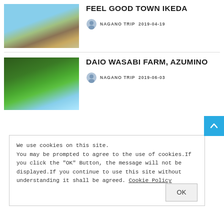[Figure (photo): Landscape photo of fields and mountains with blue sky, labeled DESTINATIONS]
FEEL GOOD TOWN IKEDA
NAGANO TRIP  2019-04-19
[Figure (photo): Photo of a green river with trees and wooden structures, labeled DESTINATIONS]
DAIO WASABI FARM, AZUMINO
NAGANO TRIP  2019-06-03
We use cookies on this site. You may be prompted to agree to the use of cookies.If you click the "OK" Button, the message will not be displayed.If you continue to use this site without understanding it shall be agreed. Cookie Policy